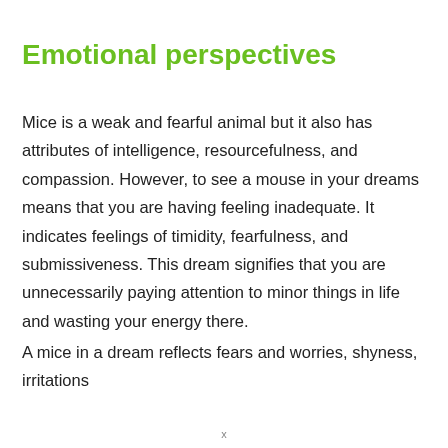Emotional perspectives
Mice is a weak and fearful animal but it also has attributes of intelligence, resourcefulness, and compassion. However, to see a mouse in your dreams means that you are having feeling inadequate. It indicates feelings of timidity, fearfulness, and submissiveness. This dream signifies that you are unnecessarily paying attention to minor things in life and wasting your energy there.
A mice in a dream reflects fears and worries, shyness, irritations
x